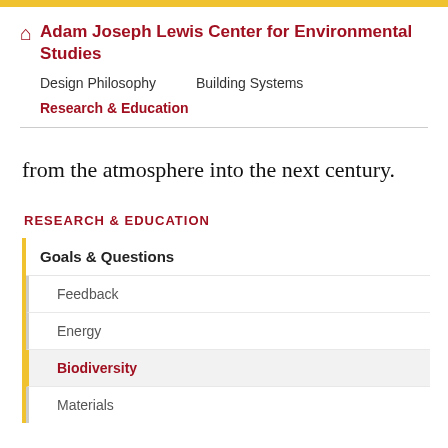Adam Joseph Lewis Center for Environmental Studies
Design Philosophy    Building Systems
Research & Education
from the atmosphere into the next century.
RESEARCH & EDUCATION
Goals & Questions
Feedback
Energy
Biodiversity
Materials